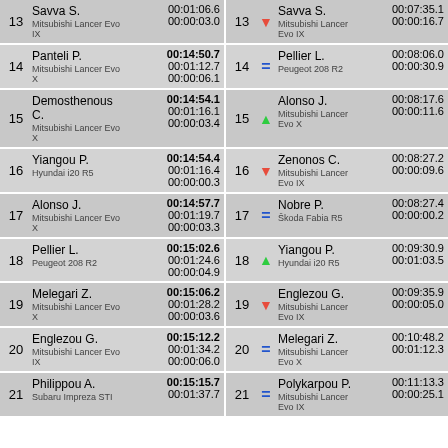| # | Driver/Car | Times | # | Arrow | Driver/Car | Times |
| --- | --- | --- | --- | --- | --- | --- |
| 13 | Savva S. / Mitsubishi Lancer Evo IX | 00:01:06.6 / 00:00:03.0 | 13 | ↓ | Savva S. / Mitsubishi Lancer Evo IX | 00:07:35.1 / 00:00:16.7 |
| 14 | Panteli P. / Mitsubishi Lancer Evo X | 00:14:50.7 / 00:01:12.7 / 00:00:06.1 | 14 | = | Pellier L. / Peugeot 208 R2 | 00:08:06.0 / 00:00:30.9 |
| 15 | Demosthenous C. / Mitsubishi Lancer Evo X | 00:14:54.1 / 00:01:16.1 / 00:00:03.4 | 15 | ↑ | Alonso J. / Mitsubishi Lancer Evo X | 00:08:17.6 / 00:00:11.6 |
| 16 | Yiangou P. / Hyundai i20 R5 | 00:14:54.4 / 00:01:16.4 / 00:00:00.3 | 16 | ↓ | Zenonos C. / Mitsubishi Lancer Evo IX | 00:08:27.2 / 00:00:09.6 |
| 17 | Alonso J. / Mitsubishi Lancer Evo X | 00:14:57.7 / 00:01:19.7 / 00:00:03.3 | 17 | = | Nobre P. / Škoda Fabia R5 | 00:08:27.4 / 00:00:00.2 |
| 18 | Pellier L. / Peugeot 208 R2 | 00:15:02.6 / 00:01:24.6 / 00:00:04.9 | 18 | ↑ | Yiangou P. / Hyundai i20 R5 | 00:09:30.9 / 00:01:03.5 |
| 19 | Melegari Z. / Mitsubishi Lancer Evo X | 00:15:06.2 / 00:01:28.2 / 00:00:03.6 | 19 | ↓ | Englezou G. / Mitsubishi Lancer Evo IX | 00:09:35.9 / 00:00:05.0 |
| 20 | Englezou G. / Mitsubishi Lancer Evo IX | 00:15:12.2 / 00:01:34.2 / 00:00:06.0 | 20 | = | Melegari Z. / Mitsubishi Lancer Evo X | 00:10:48.2 / 00:01:12.3 |
| 21 | Philippou A. / Subaru Impreza STI | 00:15:15.7 / 00:01:37.7 | 21 | = | Polykarpou P. / Mitsubishi Lancer Evo X | 00:11:13.3 / 00:00:25.1 |